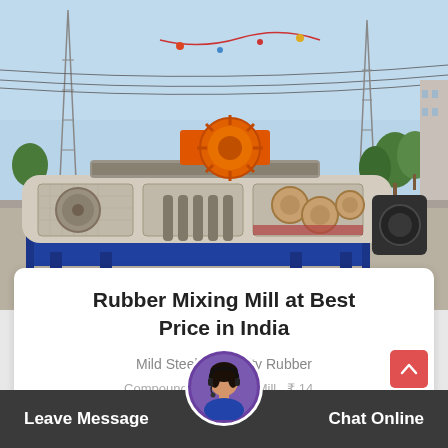[Figure (photo): Photograph of a large industrial Rubber Mixing Mill machine parked outdoors on a paved surface. The machine is cream/off-white colored with blue base, featuring visible rollers and mechanical components inside a mesh-covered housing. An orange gear/wheel mechanism is visible on top. Power lines, trees, and a building are visible in the background.]
Rubber Mixing Mill at Best Price in India
Mild Steel Electricity Rubber
Compound Two Roll Mixing Mill  ₹ 14...